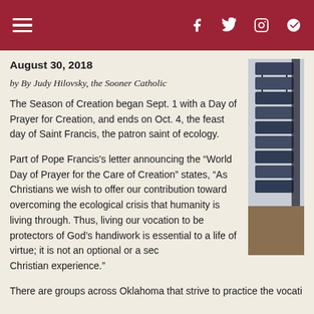Navigation header with hamburger menu and social icons (Facebook, Twitter, Instagram, Feedly)
August 30, 2018
by By Judy Hilovsky, the Sooner Catholic
The Season of Creation began Sept. 1 with a Day of Prayer for Creation, and ends on Oct. 4, the feast day of Saint Francis, the patron saint of ecology.
[Figure (photo): Stacked blue chairs photographed from the side, partially visible on the right edge of the page]
Part of Pope Francis's letter announcing the “World Day of Prayer for the Care of Creation” states, “As Christians we wish to offer our contribution toward overcoming the ecological crisis that humanity is living through. Thus, living our vocation to be protectors of God’s handiwork is essential to a life of virtue; it is not an optional or a secondary dimension of our Christian experience.”
There are groups across Oklahoma that strive to practice the vocati